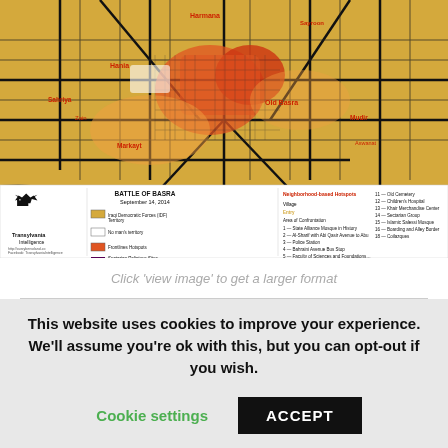[Figure (map): Battle of Basra map dated September 14, 2014, showing the city of Basra, Iraq with colored zones (Iraqi Democratic Forces IDF territory in orange/gold, no man's land in yellow, frontlines hotspots, villages, area of confrontation, and sectarian religious sites). Map includes a legend identifying numbered locations including hospitals, mosques, bridges, and key sites. Map is produced by Transylvania Intelligence.]
Click 'view image' to get a larger format
This website uses cookies to improve your experience. We'll assume you're ok with this, but you can opt-out if you wish.
Cookie settings
ACCEPT